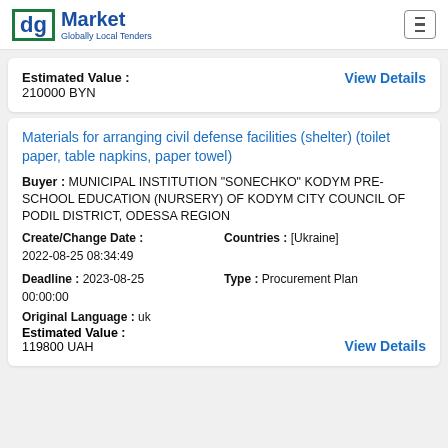dg Market — Globally Local Tenders
Estimated Value : 210000 BYN
View Details
Materials for arranging civil defense facilities (shelter) (toilet paper, table napkins, paper towel)
Buyer : MUNICIPAL INSTITUTION "SONECHKO" KODYM PRE-SCHOOL EDUCATION (NURSERY) OF KODYM CITY COUNCIL OF PODIL DISTRICT, ODESSA REGION
Create/Change Date : 2022-08-25 08:34:49
Countries : [Ukraine]
Deadline : 2023-08-25 00:00:00
Type : Procurement Plan
Original Language : uk
Estimated Value : 119800 UAH
View Details